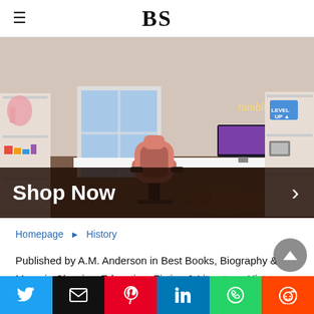BS
[Figure (photo): Gaming room setup with pink gaming chair, dual monitors on a white standing desk, shelving units with decor, neon sign on wall. Overlay bar at bottom reads 'Shop Now' with right arrow.]
Homepage ▶ History
Published by A.M. Anderson in Best Books, Biography & Memoir, Classics, Education, Fiction & Literature, History, Literature, Nonfiction, United Kingdom